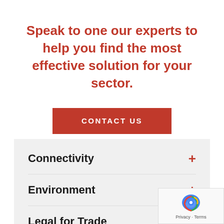Speak to one our experts to help you find the most effective solution for your sector.
CONTACT US
Connectivity
Environment
Legal for Trade